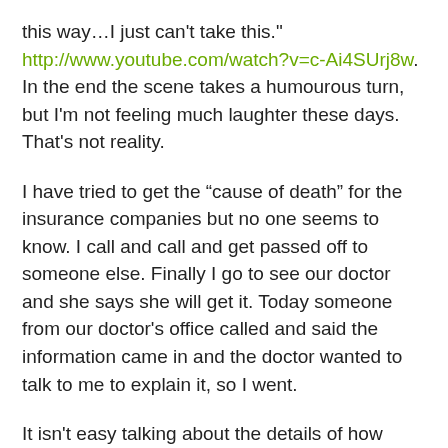this way…I just can't take this." http://www.youtube.com/watch?v=c-Ai4SUrj8w. In the end the scene takes a humourous turn, but I'm not feeling much laughter these days. That's not reality.
I have tried to get the “cause of death” for the insurance companies but no one seems to know. I call and call and get passed off to someone else. Finally I go to see our doctor and she says she will get it. Today someone from our doctor's office called and said the information came in and the doctor wanted to talk to me to explain it, so I went.
It isn't easy talking about the details of how someone died but when I read the report all I could see was that recurring word “unfortunately.”